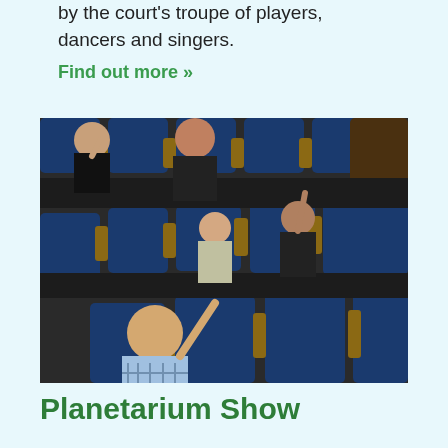by the court's troupe of players, dancers and singers.
Find out more »
[Figure (photo): Family of five seated in blue reclinable planetarium chairs, looking upward. An adult man in a plaid shirt sits in the foreground, two children sit in the middle row, and a woman and man sit in the back row, all pointing or looking up.]
Planetarium Show